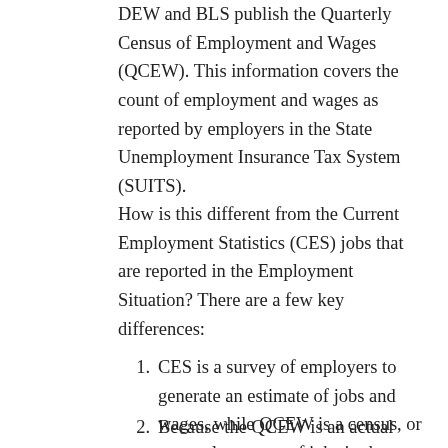DEW and BLS publish the Quarterly Census of Employment and Wages (QCEW). This information covers the count of employment and wages as reported by employers in the State Unemployment Insurance Tax System (SUITS).
How is this different from the Current Employment Statistics (CES) jobs that are reported in the Employment Situation? There are a few key differences:
CES is a survey of employers to generate an estimate of jobs and wages, while QCEW is a census, or a complete count of jobs in the state.
Because the QCEW is an actual count, and therefore more accurate, it takes longer to gather the information and so the lag time...